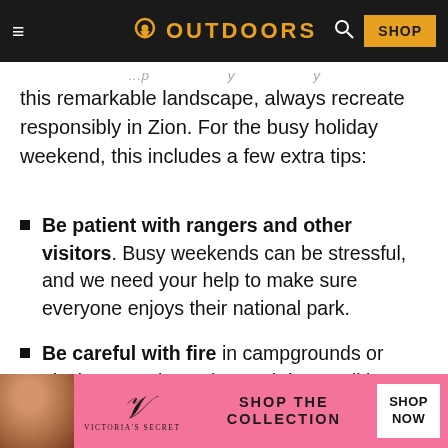OUTDOORS
this remarkable landscape, always recreate responsibly in Zion. For the busy holiday weekend, this includes a few extra tips:
Be patient with rangers and other visitors. Busy weekends can be stressful, and we need your help to make sure everyone enjoys their national park.
Be careful with fire in campgrounds or picnic areas due to hot and dry conditions.
Drink plenty of water and watch for signs
[Figure (advertisement): Victoria's Secret advertisement banner with model photo, VS monogram logo, 'SHOP THE COLLECTION' text, and 'SHOP NOW' button on pink background]